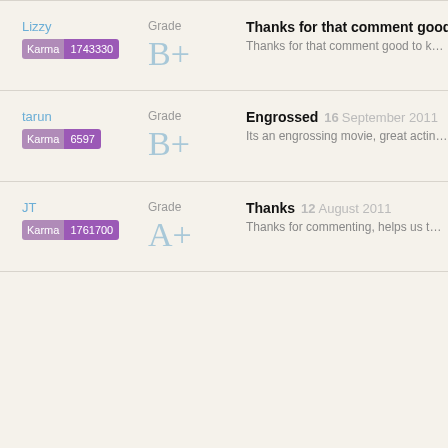Lizzy
Karma 1743330
Grade B+
Thanks for that comment good to know
Thanks for that comment good to know
tarun
Karma 6597
Grade B+
Engrossed   16 September 2011
Its an engrossing movie, great acting by
JT
Karma 1761700
Grade A+
Thanks   12 August 2011
Thanks for commenting, helps us to kn